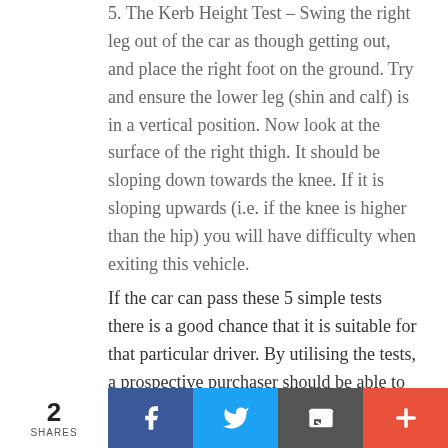5. The Kerb Height Test – Swing the right leg out of the car as though getting out, and place the right foot on the ground. Try and ensure the lower leg (shin and calf) is in a vertical position. Now look at the surface of the right thigh. It should be sloping down towards the knee. If it is sloping upwards (i.e. if the knee is higher than the hip) you will have difficulty when exiting this vehicle.
If the car can pass these 5 simple tests there is a good chance that it is suitable for that particular driver. By utilising the tests, a prospective purchaser should be able to produce a short list of suitable vehicles, from which they can then make a choice.
2 SHARES